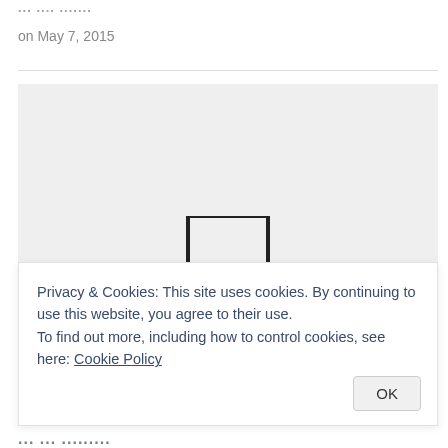... ... ...
on May 7, 2015
[Figure (screenshot): Gray placeholder box with a monitor/screen icon partially visible at the bottom center]
Privacy & Cookies: This site uses cookies. By continuing to use this website, you agree to their use.
To find out more, including how to control cookies, see here: Cookie Policy
... ... ...